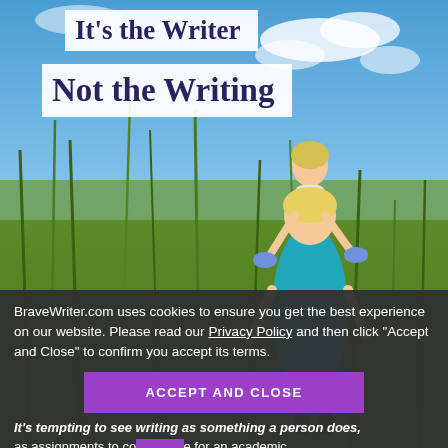[Figure (photo): A woman carrying a young child on her shoulders walking through tall green grass under a blue sky with clouds]
It's the Writer
Not the Writing
BraveWriter.com uses cookies to ensure you get the best experience on our website. Please read our Privacy Policy and then click “Accept and Close” to confirm you accept its terms.
ACCEPT AND CLOSE
It's tempting to see writing as something a person does, as assignments to co... e for an academic or career purpose.